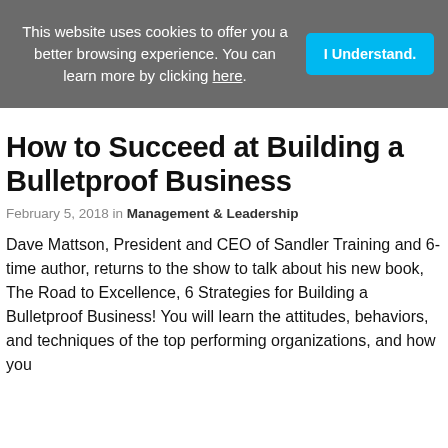This website uses cookies to offer you a better browsing experience. You can learn more by clicking here.
How to Succeed at Building a Bulletproof Business
February 5, 2018 in Management & Leadership
Dave Mattson, President and CEO of Sandler Training and 6-time author, returns to the show to talk about his new book, The Road to Excellence, 6 Strategies for Building a Bulletproof Business! You will learn the attitudes, behaviors, and techniques of the top performing organizations, and how you